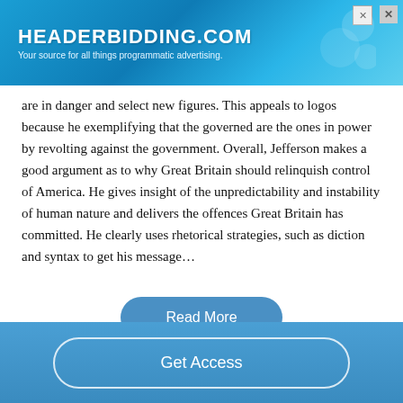[Figure (screenshot): Advertisement banner for HEADERBIDDING.COM with tagline 'Your source for all things programmatic advertising.' with blue gradient background and close button.]
are in danger and select new figures. This appeals to logos because he exemplifying that the governed are the ones in power by revolting against the government. Overall, Jefferson makes a good argument as to why Great Britain should relinquish control of America. He gives insight of the unpredictability and instability of human nature and delivers the offences Great Britain has committed. He clearly uses rhetorical strategies, such as diction and syntax to get his message…
Read More
Get Access